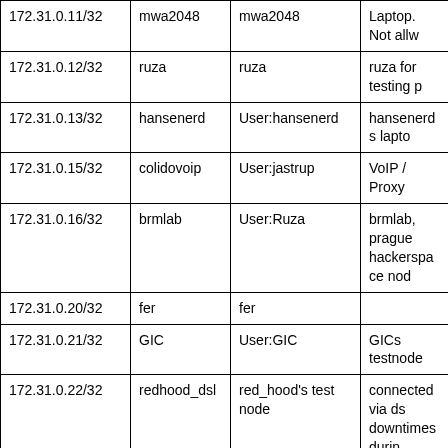| IP | Name | Description | Notes |
| --- | --- | --- | --- |
| 172.31.0.11/32 | mwa2048 | mwa2048 | Laptop. Not allw |
| 172.31.0.12/32 | ruza | ruza | ruza for testing p |
| 172.31.0.13/32 | hansenerd | User:hansenerd | hansenerds lapto |
| 172.31.0.15/32 | colidovoip | User:jastrup | VoIP / Proxy |
| 172.31.0.16/32 | brmlab | User:Ruza | brmlab, prague hackerspace nod |
| 172.31.0.20/32 | fer | fer |  |
| 172.31.0.21/32 | GIC | User:GIC | GICs testnode |
| 172.31.0.22/32 | redhood_dsl | red_hood's test node | connected via ds downtimes durin reconnect |
| 172.31.0.23/32 | helios | notebook (melian) | Laptop. Not alwa |
| 172.31.0.24/32 | hc_salato | hc's server at salato's |  |
| 172.31.0.25/32 | baales | the baales wargame at tu darmstadt |  |
| 172.31.0.26/32 | milliways | milliways - the restaurant at the end of the universe |  |